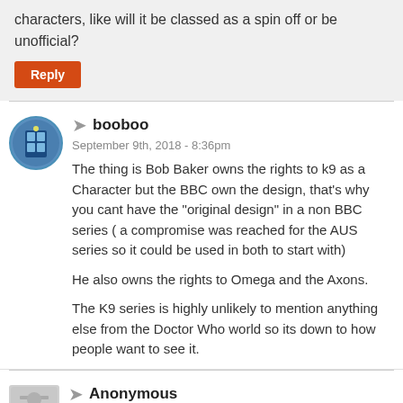characters, like will it be classed as a spin off or be unofficial?
Reply
booboo
September 9th, 2018 - 8:36pm
The thing is Bob Baker owns the rights to k9 as a Character but the BBC own the design, that's why you cant have the “original design” in a non BBC series ( a compromise was reached for the AUS series so it could be used in both to start with)
He also owns the rights to Omega and the Axons.
The K9 series is highly unlikely to mention anything else from the Doctor Who world so its down to how people want to see it.
Anonymous
September 9th, 2018 - 8:46pm
Never knew that! It's so bizarre and interesting all the legalities behind the scenes.
I was just curious whether this would be seen as an